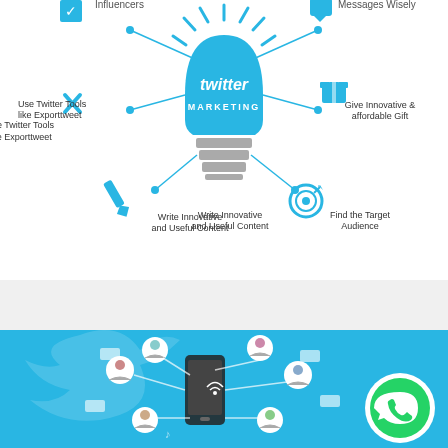[Figure (infographic): Twitter Marketing infographic showing a lightbulb with 'twitter MARKETING' text in center, surrounded by 6 items connected by lines: Influencers (top left), Messages Wisely (top right), Use Twitter Tools like Exporttweet (left), Give Innovative & affordable Gift (right), Write Innovative and Useful Content (bottom left), Find the Target Audience (bottom right). Each item has an icon.]
[Figure (illustration): Blue background illustration showing a smartphone with social network/people icons connected around it, with a WhatsApp logo circle on the right side.]